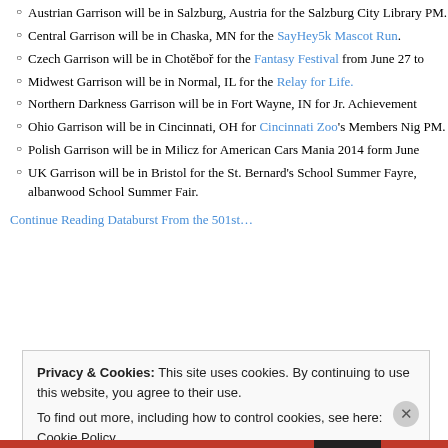Austrian Garrison will be in Salzburg, Austria for the Salzburg City Library PM.
Central Garrison will be in Chaska, MN for the SayHey5k Mascot Run.
Czech Garrison will be in Chotěboř for the Fantasy Festival from June 27 to
Midwest Garrison will be in Normal, IL for the Relay for Life.
Northern Darkness Garrison will be in Fort Wayne, IN for Jr. Achievement
Ohio Garrison will be in Cincinnati, OH for Cincinnati Zoo's Members Night PM.
Polish Garrison will be in Milicz for American Cars Mania 2014 form June
UK Garrison will be in Bristol for the St. Bernard's School Summer Fayre, albanwood School Summer Fair.
Continue Reading Databurst From the 501st…
Privacy & Cookies: This site uses cookies. By continuing to use this website, you agree to their use. To find out more, including how to control cookies, see here: Cookie Policy
Close and accept